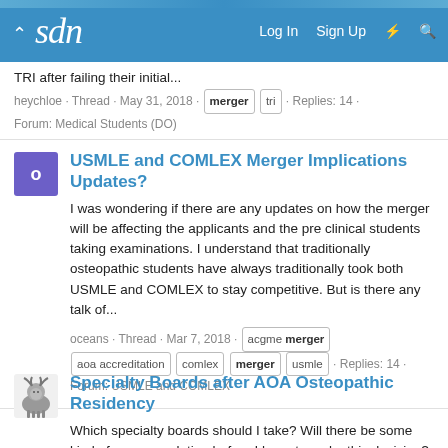sdn — Log In  Sign Up
TRI after failing their initial...
heychloe · Thread · May 31, 2018 · merger  tri · Replies: 14 · Forum: Medical Students (DO)
USMLE and COMLEX Merger Implications Updates?
I was wondering if there are any updates on how the merger will be affecting the applicants and the pre clinical students taking examinations. I understand that traditionally osteopathic students have always traditionally took both USMLE and COMLEX to stay competitive. But is there any talk of...
oceans · Thread · Mar 7, 2018 · acgme merger  aoa accreditation  comlex  merger  usmle · Replies: 14 · Forum: USMLE and COMLEX
Specialty Boards after AOA Osteopathic Residency
Which specialty boards should I take? Will there be some kind of accommodation before I have to make this decision? A little background: I graduated an osteopathic IM residency, and they